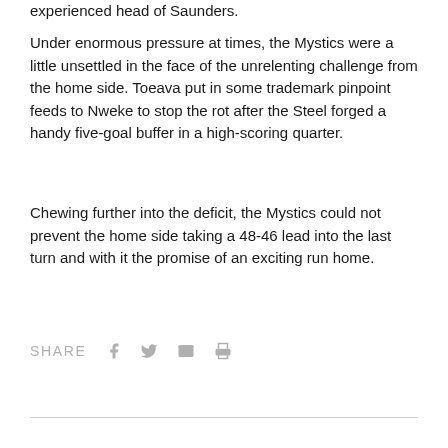experienced head of Saunders.
Under enormous pressure at times, the Mystics were a little unsettled in the face of the unrelenting challenge from the home side. Toeava put in some trademark pinpoint feeds to Nweke to stop the rot after the Steel forged a handy five-goal buffer in a high-scoring quarter.
Chewing further into the deficit, the Mystics could not prevent the home side taking a 48-46 lead into the last turn and with it the promise of an exciting run home.
SHARE [facebook] [twitter] [email] [print]